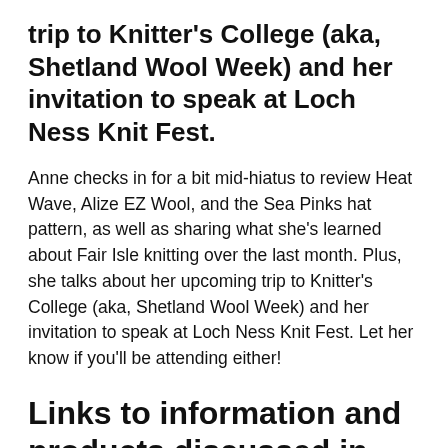trip to Knitter's College (aka, Shetland Wool Week) and her invitation to speak at Loch Ness Knit Fest.
Anne checks in for a bit mid-hiatus to review Heat Wave, Alize EZ Wool, and the Sea Pinks hat pattern, as well as sharing what she's learned about Fair Isle knitting over the last month. Plus, she talks about her upcoming trip to Knitter's College (aka, Shetland Wool Week) and her invitation to speak at Loch Ness Knit Fest. Let her know if you'll be attending either!
Links to information and products discussed in the episode: